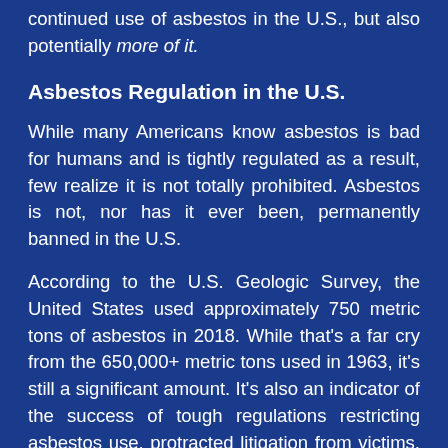continued use of asbestos in the U.S., but also potentially more of it.
Asbestos Regulation in the U.S.
While many Americans know asbestos is bad for humans and is tightly regulated as a result, few realize it is not totally prohibited. Asbestos is not, nor has it ever been, permanently banned in the U.S.
According to the U.S. Geologic Survey, the United States used approximately 750 metric tons of asbestos in 2018. While that’s a far cry from the 650,000+ metric tons used in 1963, it’s still a significant amount. It’s also an indicator of the success of tough regulations restricting asbestos use, protracted litigation from victims, workers, and families harmed as a result of asbestos exposure,